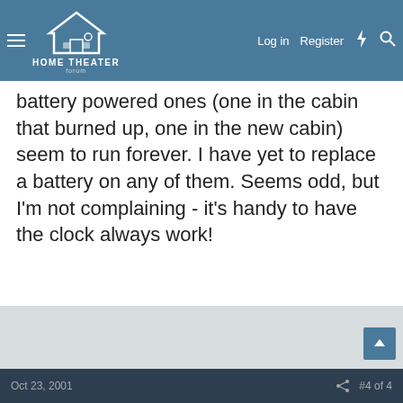HOME THEATER forum — Log in | Register
battery powered ones (one in the cabin that burned up, one in the new cabin) seem to run forever. I have yet to replace a battery on any of them. Seems odd, but I'm not complaining - it's handy to have the clock always work!
Oct 23, 2001   #4 of 4